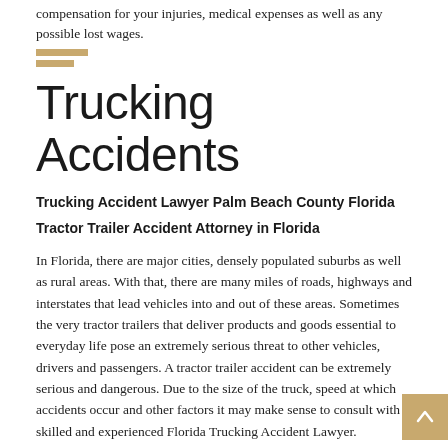compensation for your injuries, medical expenses as well as any possible lost wages.
Trucking Accidents
Trucking Accident Lawyer Palm Beach County Florida
Tractor Trailer Accident Attorney in Florida
In Florida, there are major cities, densely populated suburbs as well as rural areas. With that, there are many miles of roads, highways and interstates that lead vehicles into and out of these areas. Sometimes the very tractor trailers that deliver products and goods essential to everyday life pose an extremely serious threat to other vehicles, drivers and passengers. A tractor trailer accident can be extremely serious and dangerous. Due to the size of the truck, speed at which accidents occur and other factors it may make sense to consult with a skilled and experienced Florida Trucking Accident Lawyer.
If you, a family member or loved one has been involved in an accident with a commercial vehicle or tractor trailer call us. We have over 15 years experience handling car, truck and